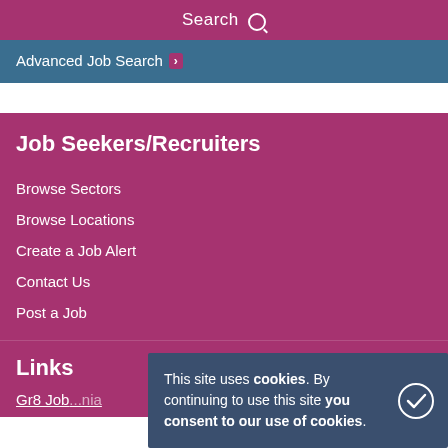Search
Advanced Job Search
Job Seekers/Recruiters
Browse Sectors
Browse Locations
Create a Job Alert
Contact Us
Post a Job
Links
Gr8 Jobs ...nia
This site uses cookies. By continuing to use this site you consent to our use of cookies.